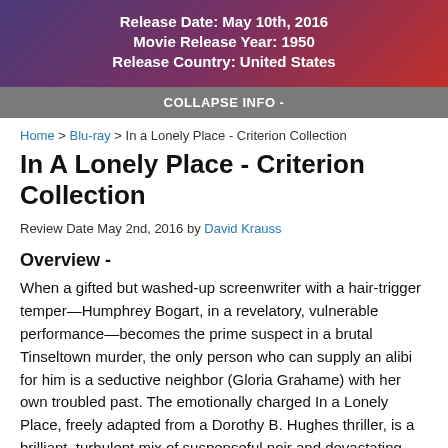Release Date: May 10th, 2016
Movie Release Year: 1950
Release Country: United States
COLLAPSE INFO -
Home > Blu-ray > In a Lonely Place - Criterion Collection
In A Lonely Place - Criterion Collection
Review Date May 2nd, 2016 by David Krauss
Overview -
When a gifted but washed-up screenwriter with a hair-trigger temper—Humphrey Bogart, in a revelatory, vulnerable performance—becomes the prime suspect in a brutal Tinseltown murder, the only person who can supply an alibi for him is a seductive neighbor (Gloria Grahame) with her own troubled past. The emotionally charged In a Lonely Place, freely adapted from a Dorothy B. Hughes thriller, is a brilliant, turbulent mix of suspenseful noir and devastating melodrama, fueled by powerhouse